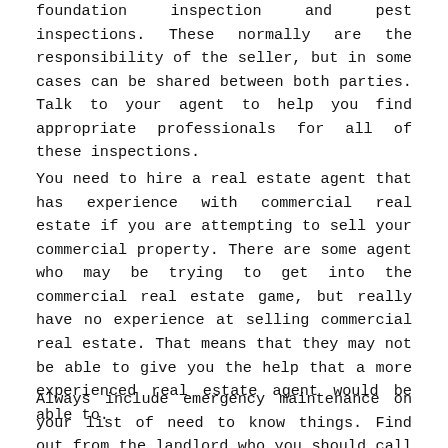foundation inspection and pest inspections. These normally are the responsibility of the seller, but in some cases can be shared between both parties. Talk to your agent to help you find appropriate professionals for all of these inspections.
You need to hire a real estate agent that has experience with commercial real estate if you are attempting to sell your commercial property. There are some agent who may be trying to get into the commercial real estate game, but really have no experience at selling commercial real estate. That means that they may not be able to give you the help that a more experienced real estate agent would be able to.
Always include emergency maintenance on your list of need to know things. Find out from the landlord who you should call if the worst happens, and you